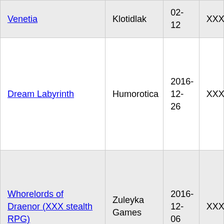| Title | Developer | Date | Rating |
| --- | --- | --- | --- |
| Venetia | Klotidlak | 02-12 | XXX | 4 |
| Dream Labyrinth | Humorotica | 2016-12-26 | XXX | 4 |
| Whorelords of Draenor (XXX stealth RPG) | Zuleyka Games | 2016-12-06 | XXX | 4 |
|  |  |  |  |  |